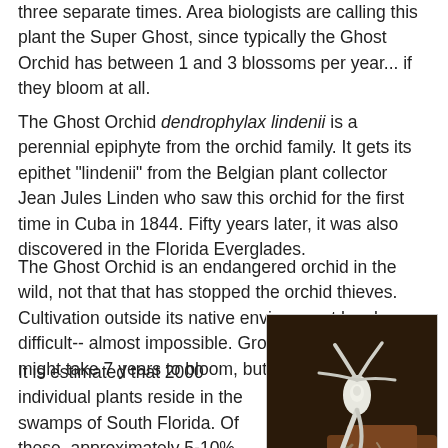three separate times. Area biologists are calling this plant the Super Ghost, since typically the Ghost Orchid has between 1 and 3 blossoms per year... if they bloom at all.
The Ghost Orchid dendrophylax lindenii is a perennial epiphyte from the orchid family. It gets its epithet "lindenii" from the Belgian plant collector Jean Jules Linden who saw this orchid for the first time in Cuba in 1844. Fifty years later, it was also discovered in the Florida Everglades.
The Ghost Orchid is an endangered orchid in the wild, not that that has stopped the orchid thieves. Cultivation outside its native environment has been difficult-- almost impossible. Grown from seed, it might take 7 years to bloom, but rarely does.
[Figure (photo): Close-up photograph of a Ghost Orchid (dendrophylax lindenii) showing white flower with elongated petals and hanging roots against a dark background.]
It is estimated that 2000 individual plants reside in the swamps of South Florida. Of these, approximately 5-10% bloom each year, and of those only about 10% are pollinated by the giant sphinx moth. The orchid blooms between June and August